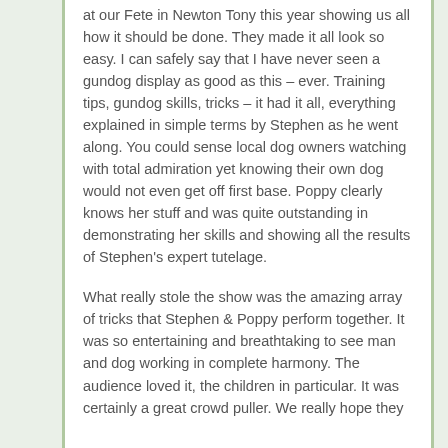at our Fete in Newton Tony this year showing us all how it should be done. They made it all look so easy. I can safely say that I have never seen a gundog display as good as this – ever. Training tips, gundog skills, tricks – it had it all, everything explained in simple terms by Stephen as he went along. You could sense local dog owners watching with total admiration yet knowing their own dog would not even get off first base. Poppy clearly knows her stuff and was quite outstanding in demonstrating her skills and showing all the results of Stephen's expert tutelage.
What really stole the show was the amazing array of tricks that Stephen & Poppy perform together. It was so entertaining and breathtaking to see man and dog working in complete harmony. The audience loved it, the children in particular. It was certainly a great crowd puller. We really hope they...